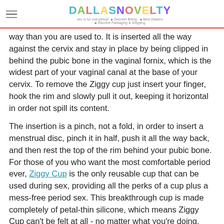DALLAS NOVELTY — sex is for everybody! Discreet Billing, Best Dealers, Discreet Packaging & Shipping
way than you are used to. It is inserted all the way against the cervix and stay in place by being clipped in behind the pubic bone in the vaginal fornix, which is the widest part of your vaginal canal at the base of your cervix. To remove the Ziggy cup just insert your finger, hook the rim and slowly pull it out, keeping it horizontal in order not spill its content.
The insertion is a pinch, not a fold, in order to insert a menstrual disc, pinch it in half, push it all the way back, and then rest the top of the rim behind your pubic bone. For those of you who want the most comfortable period ever, Ziggy Cup is the only reusable cup that can be used during sex, providing all the perks of a cup plus a mess-free period sex. This breakthrough cup is made completely of petal-thin silicone, which means Ziggy Cup can't be felt at all - no matter what you're doing. Yes, Ziggy Cup is a period protection revolution in a nutshell.
Just wash your cup after use and store it in its discrete carry-